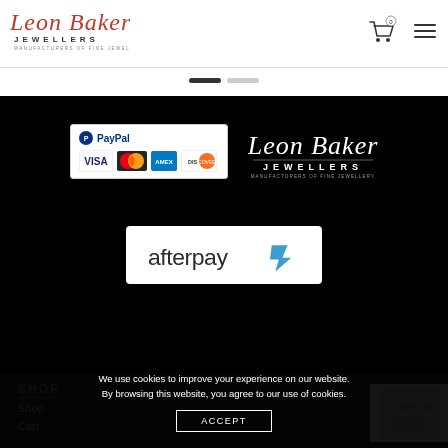[Figure (logo): Leon Baker Jewellers logo - script text in red with JEWELLERS in bold caps and MANUFACTURERS OF FINE JEWELLERY subtitle]
[Figure (other): Navigation icons: cart with 0 badge and hamburger menu]
[Figure (other): Slider navigation dots - one active dark, one inactive gray]
[Figure (other): Payment methods box showing PayPal, Visa, MasterCard, American Express, Discover logos]
[Figure (logo): Leon Baker Jewellers white logo on black background]
[Figure (other): Afterpay logo in white box]
SHOP
Shop
Cart
We use cookies to improve your experience on our website. By browsing this website, you agree to our use of cookies.
ACCEPT